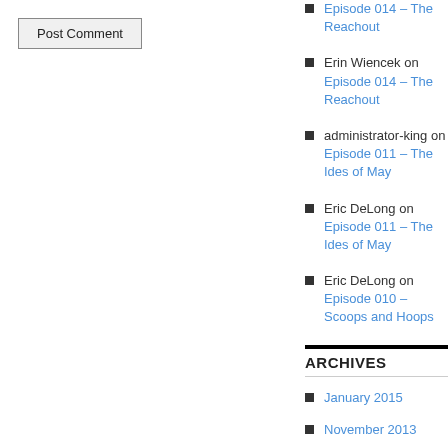Post Comment
Episode 014 – The Reachout
Erin Wiencek on Episode 014 – The Reachout
administrator-king on Episode 011 – The Ides of May
Eric DeLong on Episode 011 – The Ides of May
Eric DeLong on Episode 010 – Scoops and Hoops
ARCHIVES
January 2015
November 2013
July 2013
June 2013